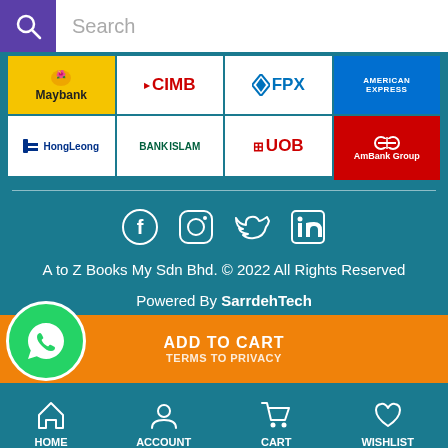[Figure (screenshot): Search bar with purple icon and white input field showing 'Search' placeholder]
[Figure (screenshot): Grid of bank payment logos: Maybank, CIMB, FPX, American Express (top row); Hong Leong, Bank Islam, UOB, AmBank Group (bottom row) on teal background]
[Figure (infographic): Social media icons: Facebook, Instagram, Twitter, LinkedIn in white on teal background]
A to Z Books My Sdn Bhd. © 2022 All Rights Reserved
Powered By SarrdehTech
[Figure (screenshot): Orange action bar with WhatsApp bubble icon and text ADD TO CART / TERMS TO PRIVACY]
HOME  ACCOUNT  CART  WISHLIST